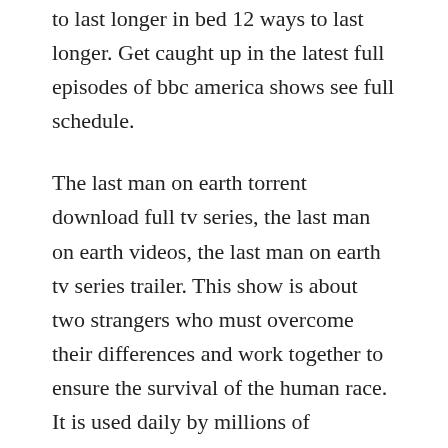to last longer in bed 12 ways to last longer. Get caught up in the latest full episodes of bbc america shows see full schedule.
The last man on earth torrent download full tv series, the last man on earth videos, the last man on earth tv series trailer. This show is about two strangers who must overcome their differences and work together to ensure the survival of the human race. It is used daily by millions of professional djs all around the world. Jul 11, 2016 last man on earth season 3 full show download. The only truly negative